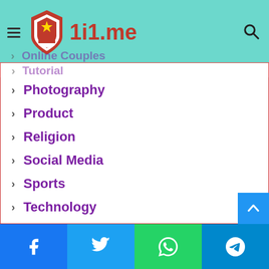1i1.me website header with logo and navigation
Photography
Product
Religion
Social Media
Sports
Technology
Tools
Travel
Website
Facebook | Twitter | WhatsApp | Telegram